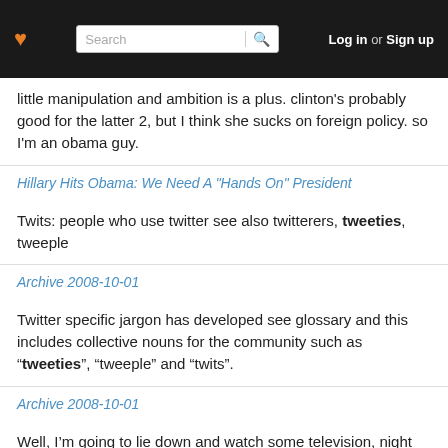Log in or Sign up
little manipulation and ambition is a plus. clinton's probably good for the latter 2, but I think she sucks on foreign policy. so I'm an obama guy.
Hillary Hits Obama: We Need A "Hands On" President
Twits: people who use twitter see also twitterers, tweeties, tweeple
Archive 2008-10-01
Twitter specific jargon has developed see glossary and this includes collective nouns for the community such as “tweeties”, “tweeple” and “twits”.
Archive 2008-10-01
Well, I’m going to lie down and watch some television, night tweeties.